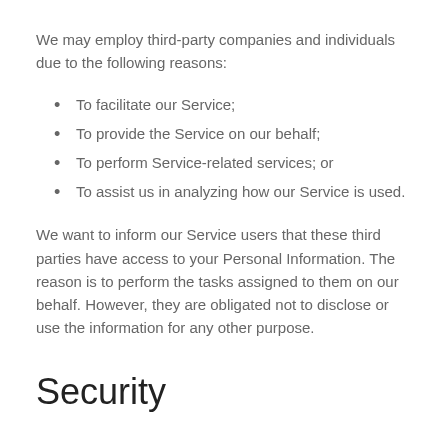We may employ third-party companies and individuals due to the following reasons:
To facilitate our Service;
To provide the Service on our behalf;
To perform Service-related services; or
To assist us in analyzing how our Service is used.
We want to inform our Service users that these third parties have access to your Personal Information. The reason is to perform the tasks assigned to them on our behalf. However, they are obligated not to disclose or use the information for any other purpose.
Security